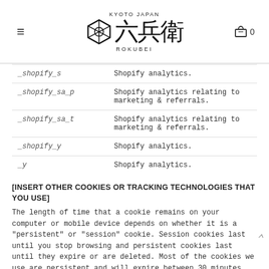[Figure (logo): Rokubei Kyoto Japan logo with hexagonal emblem and Japanese calligraphy characters]
| Cookie | Description |
| --- | --- |
| _shopify_s | Shopify analytics. |
| _shopify_sa_p | Shopify analytics relating to marketing & referrals. |
| _shopify_sa_t | Shopify analytics relating to marketing & referrals. |
| _shopify_y | Shopify analytics. |
| _y | Shopify analytics. |
[INSERT OTHER COOKIES OR TRACKING TECHNOLOGIES THAT YOU USE]
The length of time that a cookie remains on your computer or mobile device depends on whether it is a "persistent" or "session" cookie. Session cookies last until you stop browsing and persistent cookies last until they expire or are deleted. Most of the cookies we use are persistent and will expire between 30 minutes and